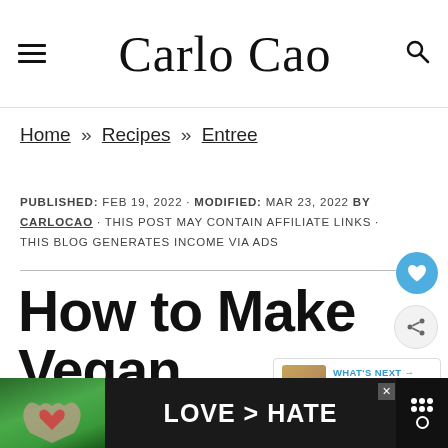Carlo Cao
Home » Recipes » Entree
PUBLISHED: FEB 19, 2022 · MODIFIED: MAR 23, 2022 BY CARLOCAO · THIS POST MAY CONTAIN AFFILIATE LINKS · THIS BLOG GENERATES INCOME VIA ADS
How to Make Vegan Chickpea Nuggets
[Figure (other): What's Next widget showing Vegan Mushroom... recipe thumbnail]
[Figure (other): Advertisement banner with heart hands image and text LOVE > HATE]